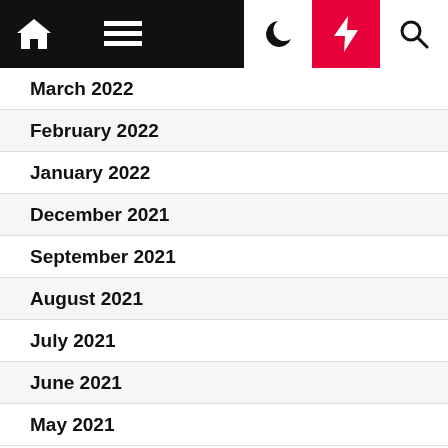Navigation bar with home, menu, moon, flash, and search icons
March 2022
February 2022
January 2022
December 2021
September 2021
August 2021
July 2021
June 2021
May 2021